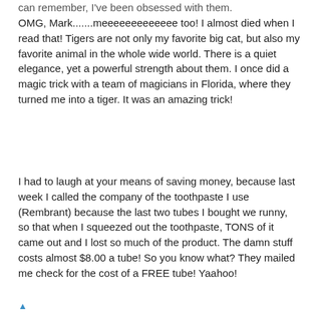can remember, I've been obsessed with them.
OMG, Mark.......meeeeeeeeeeeee too! I almost died when I read that! Tigers are not only my favorite big cat, but also my favorite animal in the whole wide world. There is a quiet elegance, yet a powerful strength about them. I once did a magic trick with a team of magicians in Florida, where they turned me into a tiger. It was an amazing trick!
I had to laugh at your means of saving money, because last week I called the company of the toothpaste I use (Rembrant) because the last two tubes I bought we runny, so that when I squeezed out the toothpaste, TONS of it came out and I lost so much of the product. The damn stuff costs almost $8.00 a tube! So you know what? They mailed me check for the cost of a FREE tube! Yaahoo!